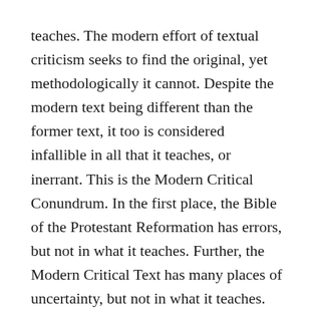teaches. The modern effort of textual criticism seeks to find the original, yet methodologically it cannot. Despite the modern text being different than the former text, it too is considered infallible in all that it teaches, or inerrant. This is the Modern Critical Conundrum. In the first place, the Bible of the Protestant Reformation has errors, but not in what it teaches. Further, the Modern Critical Text has many places of uncertainty, but not in what it teaches. Differences between the two text forms cannot affect doctrine, yet the modern text form is better to some unquantifiable degree.
The conclusion of such a doctrine is that the actual words of Scripture are not what give the authority to Scripture. The modern doctrine of Scripture does not contain any mechanism to validate the reconstructed text against the